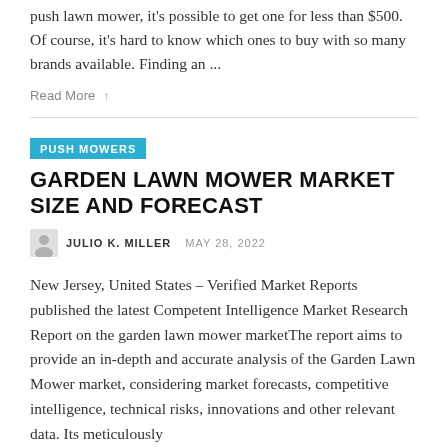push lawn mower, it's possible to get one for less than $500. Of course, it's hard to know which ones to buy with so many brands available. Finding an ...
Read More ↑
PUSH MOWERS
GARDEN LAWN MOWER MARKET SIZE AND FORECAST
JULIO K. MILLER   MAY 28, 2022
New Jersey, United States – Verified Market Reports published the latest Competent Intelligence Market Research Report on the garden lawn mower marketThe report aims to provide an in-depth and accurate analysis of the Garden Lawn Mower market, considering market forecasts, competitive intelligence, technical risks, innovations and other relevant data. Its meticulously